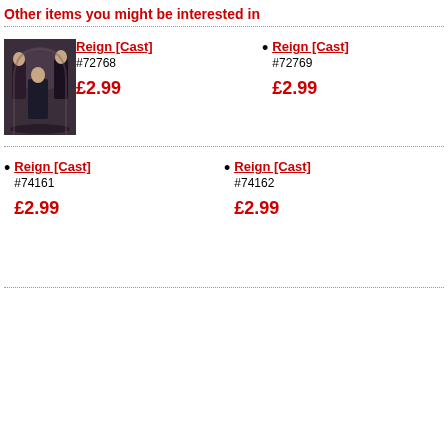Other items you might be interested in
[Figure (photo): Photo of Reign cast — three figures in dark gothic attire against an arched background]
Reign [Cast]
#72768
£2.99
Reign [Cast]
#72769
£2.99
Reign [Cast]
#74161
£2.99
Reign [Cast]
#74162
£2.99